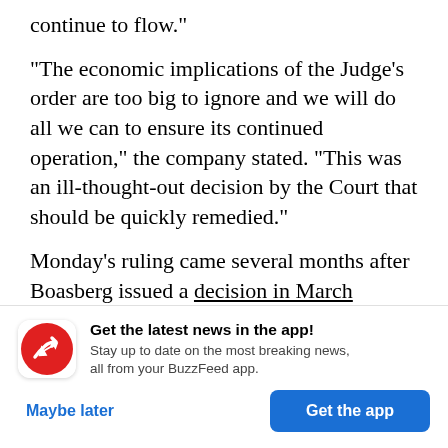continue to flow."
"The economic implications of the Judge’s order are too big to ignore and we will do all we can to ensure its continued operation," the company stated. "This was an ill-thought-out decision by the Court that should be quickly remedied."
Monday’s ruling came several months after Boasberg issued a decision in March finding the US Army Corps of Engineers had violated the National
[Figure (infographic): BuzzFeed app notification banner with red icon showing upward arrow, title 'Get the latest news in the app!', subtitle 'Stay up to date on the most breaking news, all from your BuzzFeed app.', and two buttons: 'Maybe later' and 'Get the app']